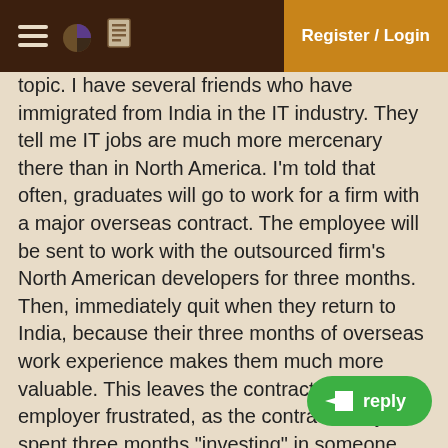Register / Login
topic. I have several friends who have immigrated from India in the IT industry. They tell me IT jobs are much more mercenary there than in North America. I'm told that often, graduates will go to work for a firm with a major overseas contract. The employee will be sent to work with the outsourced firm's North American developers for three months. Then, immediately quit when they return to India, because their three months of overseas work experience makes them much more valuable. This leaves the contract and the employer frustrated, as the contract has just spent three months "investing" in someone they thought would be their India-based liaison.
In Canada, often employers will pay for middle management to take MBAs. In exchange, the employee will agree to a certain time/work commitment (usually one to two years) to offset the employer's Should the employee leave early, the employee will be required to repay a pro-rated portion of the employer's